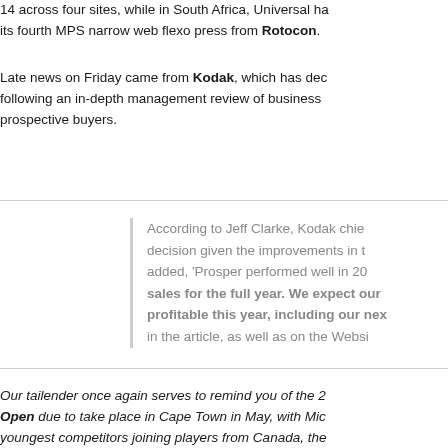14 across four sites, while in South Africa, Universal has its fourth MPS narrow web flexo press from Rotocon.
Late news on Friday came from Kodak, which has dec following an in-depth management review of business prospective buyers.
According to Jeff Clarke, Kodak chie decision given the improvements in t added, 'Prosper performed well in 20 sales for the full year. We expect our profitable this year, including our nex in the article, as well as on the Websi
Our tailender once again serves to remind you of the 2 Open due to take place in Cape Town in May, with Mic youngest competitors joining players from Canada, the